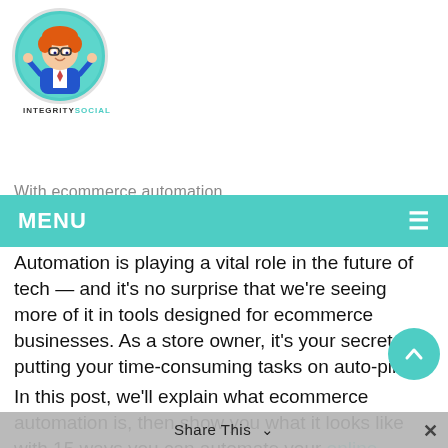[Figure (logo): IntegritySocial logo with cartoon character in teal circle, text 'INTEGRITYSOCIAL' below]
MENU ≡
Automation is playing a vital role in the future of tech — and it's no surprise that we're seeing more of it in tools designed for ecommerce businesses. As a store owner, it's your secret to putting your time-consuming tasks on auto-pilot.
In this post, we'll explain what ecommerce automation is, then show you what it looks like with 15 ways you can automate your online business.
WHAT IS ECOMMERCE AUTOMATION?
It means using software to turn manual tasks into automated workflows. These workflows can trigger internal or external emails, notifications, or actions in other apps —
Share This